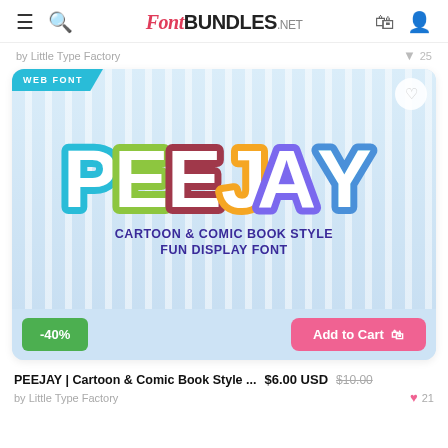FontBUNDLES.NET
by Little Type Factory  ♥ 25
[Figure (screenshot): Product card for PEEJAY font showing colorful cartoon-style letters on a light blue striped background with WEB FONT badge, -40% discount badge, and Add to Cart button. Subtitle reads: CARTOON & COMIC BOOK STYLE FUN DISPLAY FONT]
PEEJAY | Cartoon & Comic Book Style ...  $6.00 USD  $10.00
by Little Type Factory  ♥ 21